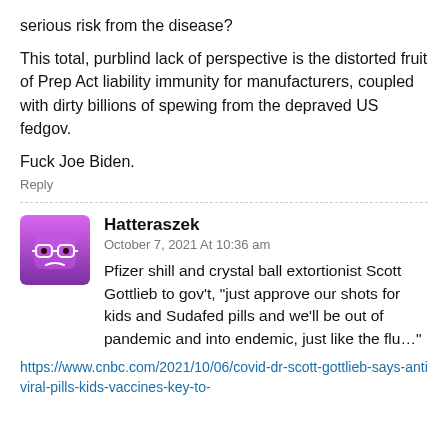serious risk from the disease?
This total, purblind lack of perspective is the distorted fruit of Prep Act liability immunity for manufacturers, coupled with dirty billions of spewing from the depraved US fedgov.
Fuck Joe Biden.
Reply
[Figure (illustration): Purple avatar icon of a cartoon face with glasses on a gradient purple background]
Hatteraszek
October 7, 2021 At 10:36 am
Pfizer shill and crystal ball extortionist Scott Gottlieb to gov't, “just approve our shots for kids and Sudafed pills and we’ll be out of pandemic and into endemic, just like the flu…”
https://www.cnbc.com/2021/10/06/covid-dr-scott-gottlieb-says-antiviral-pills-kids-vaccines-key-to-